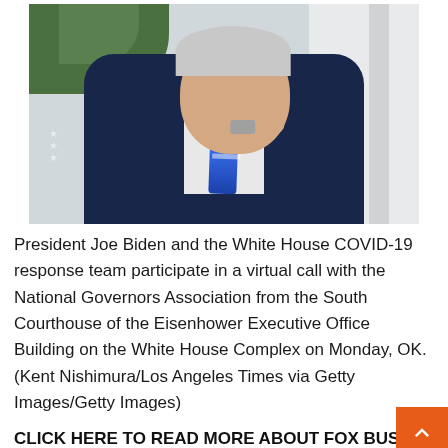[Figure (photo): President Joe Biden in a dark suit with blue striped tie, seated at a table, gesturing with his hand, with greenery and a white building column visible in the background.]
President Joe Biden and the White House COVID-19 response team participate in a virtual call with the National Governors Association from the South Courthouse of the Eisenhower Executive Office Building on the White House Complex on Monday, OK. (Kent Nishimura/Los Angeles Times via Getty Images/Getty Images)
CLICK HERE TO READ MORE ABOUT FOX BUSIN
The national average for a gallon of unleaded gas hit $1.00 on Sunday after hitting an all-time high of $5 f